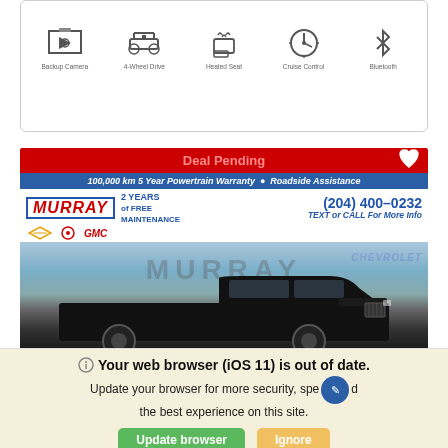Key Features
[Figure (infographic): Row of 5 feature icons: Backup Camera, 4-Wheel Drive, Heated Seat, Cruise Control, Bluetooth]
[Figure (photo): Murray Chevrolet GMC dealership with a black Chevrolet Silverado pickup truck parked in front. Red Deal Pending banner at top, blue warranty bar, Murray logo with 2 Years of Free Maintenance and phone number (204) 400-0232.]
Deal Pending
100,000 km 5 Year Powertrain Warranty • Roadside Assistance
MURRAY 2 YEARS of FREE MAINTENANCE (204) 400-0232 TEXT or CALL For More Info
Your web browser (iOS 11) is out of date. Update your browser for more security, speed and the best experience on this site.
Update browser
Ignore